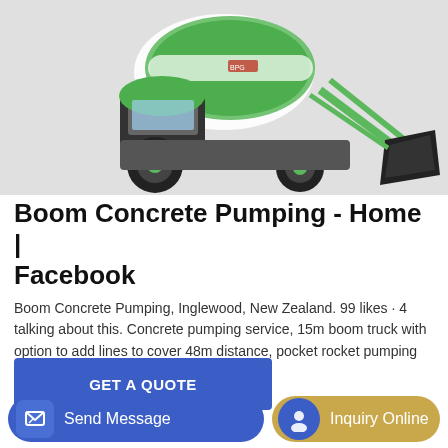[Figure (photo): Green and white self-loading concrete mixer truck with a large front bucket/scoop attachment, photographed on a light grey background.]
Boom Concrete Pumping - Home | Facebook
Boom Concrete Pumping, Inglewood, New Zealand. 99 likes · 4 talking about this. Concrete pumping service, 15m boom truck with option to add lines to cover 48m distance, pocket rocket pumping up to
[Figure (other): GET A QUOTE button - blue rectangle button with white text]
[Figure (other): Bottom navigation bar with Send Message button (blue, rounded) and Inquiry Online button (gold/tan, rounded with blue circle icon)]